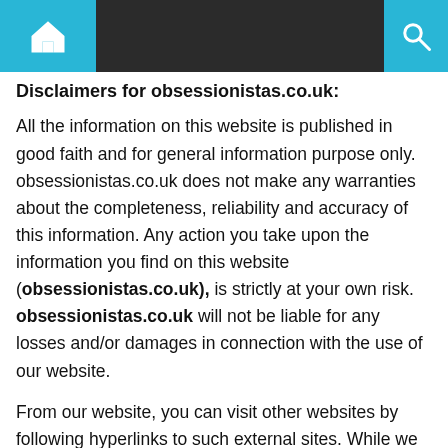Navigation bar with home and search icons
Disclaimers for obsessionistas.co.uk:
All the information on this website is published in good faith and for general information purpose only. obsessionistas.co.uk does not make any warranties about the completeness, reliability and accuracy of this information. Any action you take upon the information you find on this website (obsessionistas.co.uk), is strictly at your own risk. obsessionistas.co.uk will not be liable for any losses and/or damages in connection with the use of our website.
From our website, you can visit other websites by following hyperlinks to such external sites. While we strive to provide only quality links to useful and ethical websites, we have no control over the content and nature of these sites. These links